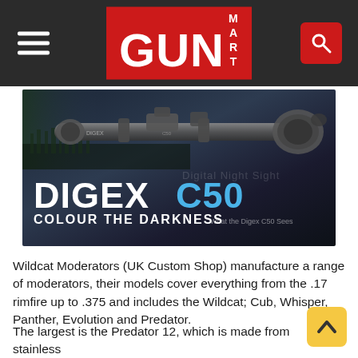GUN MART
[Figure (photo): Product advertisement image for the Digex C50 night vision scope. Shows a rifle scope silhouette against a dark background with the text 'DIGEX C50' in large white and blue letters, and 'COLOUR THE DARKNESS' below it. Additional faded text reads 'What the Digex C50 Sees'.]
Wildcat Moderators (UK Custom Shop) manufacture a range of moderators, their models cover everything from the .17 rimfire up to .375 and includes the Wildcat; Cub, Whisper, Panther, Evolution and Predator.
The largest is the Predator 12, which is made from stainless steel and high-grade alloy. It is fitted with 12 baffles, which